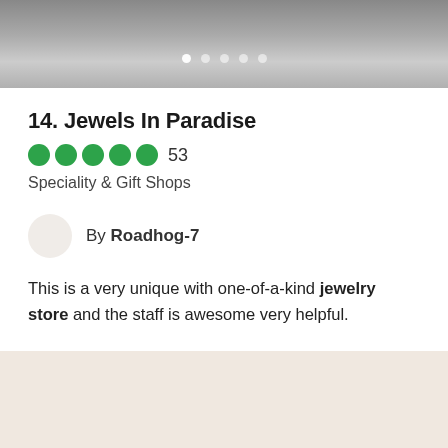[Figure (screenshot): Top navigation bar with pagination dots (5 dots, first one active/white) on a grey gradient background]
14. Jewels In Paradise
[Figure (other): Five green filled circles representing a 5-star rating, followed by the number 53]
Speciality & Gift Shops
By Roadhog-7
This is a very unique with one-of-a-kind jewelry store and the staff is awesome very helpful.